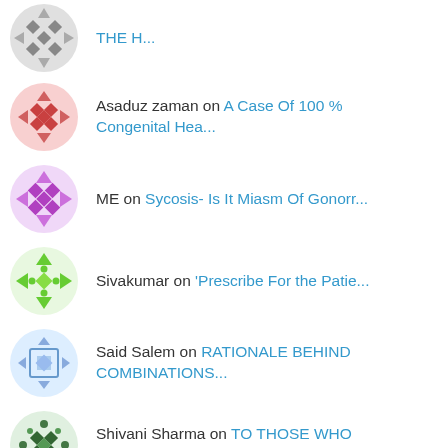THE H...
Asaduz zaman on A Case Of 100 % Congenital Hea...
ME on Sycosis- Is It Miasm Of Gonorr...
Sivakumar on 'Prescribe For the Patie...
Said Salem on RATIONALE BEHIND COMBINATIONS...
Shivani Sharma on TO THOSE WHO CONDUCT HOMEOPATH...
Dr Rajeevan E P on MIT Approach To The Homeopathi...